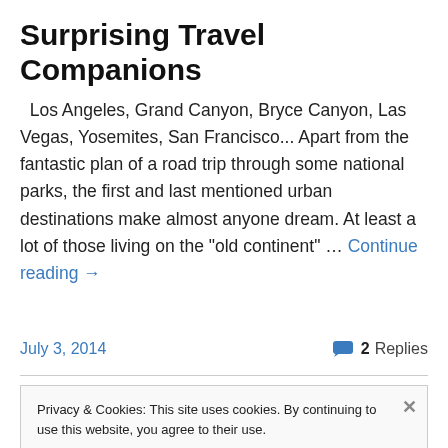Surprising Travel Companions
Los Angeles, Grand Canyon, Bryce Canyon, Las Vegas, Yosemites, San Francisco... Apart from the fantastic plan of a road trip through some national parks, the first and last mentioned urban destinations make almost anyone dream. At least a lot of those living on the "old continent" … Continue reading →
July 3, 2014   2 Replies
Privacy & Cookies: This site uses cookies. By continuing to use this website, you agree to their use.
To find out more, including how to control cookies, see here: Cookie Policy